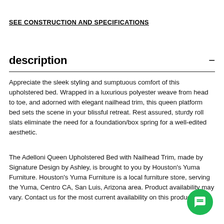SEE CONSTRUCTION AND SPECIFICATIONS
description
Appreciate the sleek styling and sumptuous comfort of this upholstered bed. Wrapped in a luxurious polyester weave from head to toe, and adorned with elegant nailhead trim, this queen platform bed sets the scene in your blissful retreat. Rest assured, sturdy roll slats eliminate the need for a foundation/box spring for a well-edited aesthetic.
The Adelloni Queen Upholstered Bed with Nailhead Trim, made by Signature Design by Ashley, is brought to you by Houston's Yuma Furniture. Houston's Yuma Furniture is a local furniture store, serving the Yuma, Centro CA, San Luis, Arizona area. Product availability may vary. Contact us for the most current availability on this product.